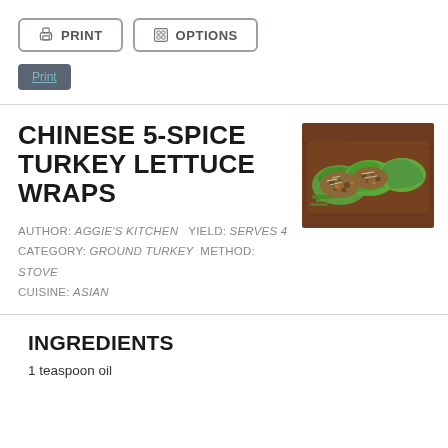PRINT  OPTIONS
Print
CHINESE 5-SPICE TURKEY LETTUCE WRAPS
[Figure (photo): Photo of Chinese 5-spice turkey lettuce wraps on a wooden tray, showing lettuce cups filled with ground turkey mixture topped with shredded vegetables.]
AUTHOR: Aggie's Kitchen   YIELD: serves 4
CATEGORY: Ground Turkey   METHOD: Stove
CUISINE: Asian
INGREDIENTS
1 teaspoon oil